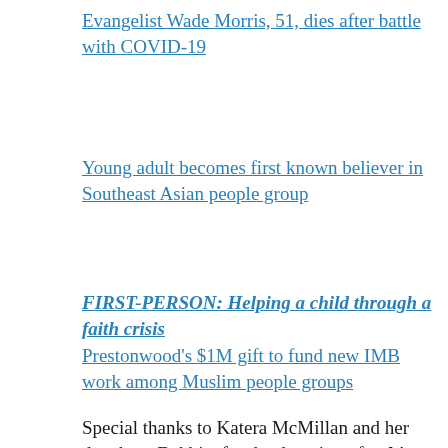Evangelist Wade Morris, 51, dies after battle with COVID-19
Young adult becomes first known believer in Southeast Asian people group
FIRST-PERSON: Helping a child through a faith crisis
Prestonwood's $1M gift to fund new IMB work among Muslim people groups
Special thanks to Katera McMillan and her daughter, Debbie, for the donation of t-shirts to be used in OCC projects. Also, special thanks to Thelma Pierce who is diligently sewing to